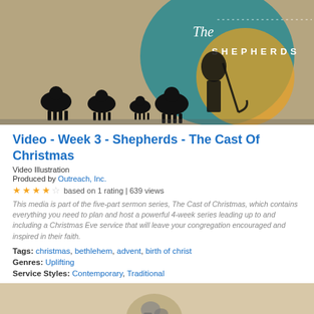[Figure (photo): Header image for 'The Shepherds - The Cast of Christmas' sermon series, showing silhouettes of sheep and a shepherd figure against a teal/gold background with text 'The Shepherds']
Video - Week 3 - Shepherds - The Cast Of Christmas
Video Illustration
Produced by Outreach, Inc.
★★★★☆ based on 1 rating | 639 views
This media is part of the five-part sermon series, The Cast of Christmas, which contains everything you need to plan and host a powerful 4-week series leading up to and including a Christmas Eve service that will leave your congregation encouraged and inspired in their faith.
Tags: christmas, bethlehem, advent, birth of christ
Genres: Uplifting
Service Styles: Contemporary, Traditional
[Figure (photo): Bottom partial image showing another item in the series, with a beige/tan background and partial figure silhouette visible]